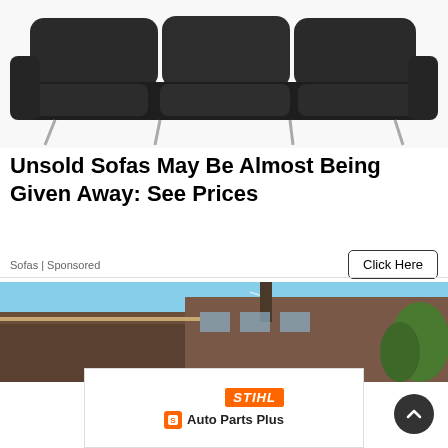[Figure (photo): Dark gray leather three-seat sofa with metal legs on white background]
Unsold Sofas May Be Almost Being Given Away: See Prices
Sofas | Sponsored
Click Here
[Figure (photo): Exterior view of a brick building with rooftop chimney against a blue sky with trees]
[Figure (logo): STIHL Auto Parts Plus advertisement banner]